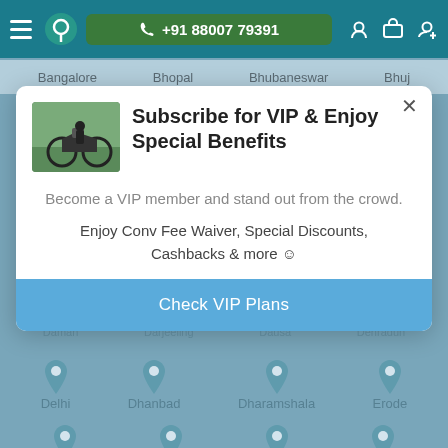+91 88007 79391
Bangalore   Bhopal   Bhubaneswar   Bhuj
Subscribe for VIP & Enjoy Special Benefits
Become a VIP member and stand out from the crowd.
Enjoy Conv Fee Waiver, Special Discounts, Cashbacks & more ☺
Check VIP Plans
Delhi   Dhanbad   Dharamshala   Erode